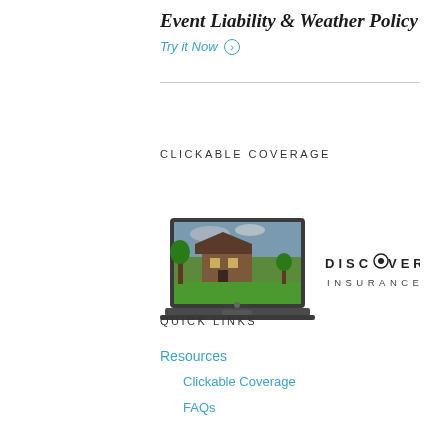Event Liability & Weather Policy
Try it Now ⊙
CLICKABLE COVERAGE
[Figure (illustration): Laptop showing a house with green lawn image on screen, next to the Discover Insurance logo with a circular dot replacing the O in DISCOVER.]
QUICK LINKS
Resources
Clickable Coverage
FAQs